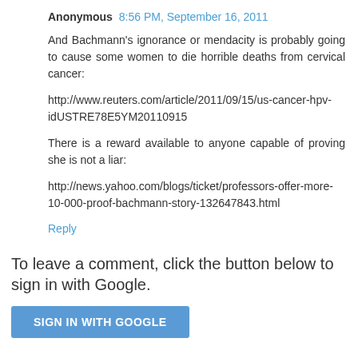Anonymous 8:56 PM, September 16, 2011
And Bachmann's ignorance or mendacity is probably going to cause some women to die horrible deaths from cervical cancer:
http://www.reuters.com/article/2011/09/15/us-cancer-hpv-idUSTRE78E5YM20110915
There is a reward available to anyone capable of proving she is not a liar:
http://news.yahoo.com/blogs/ticket/professors-offer-more-10-000-proof-bachmann-story-132647843.html
Reply
To leave a comment, click the button below to sign in with Google.
SIGN IN WITH GOOGLE